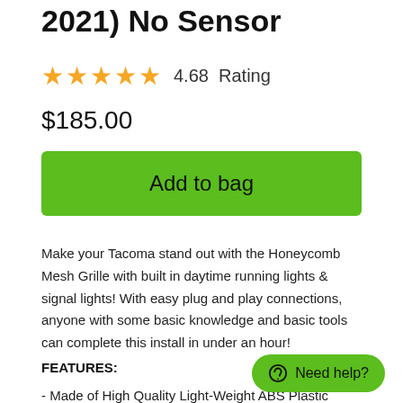2021) No Sensor
4.68  Rating
$185.00
Add to bag
Make your Tacoma stand out with the Honeycomb Mesh Grille with built in daytime running lights & signal lights! With easy plug and play connections, anyone with some basic knowledge and basic tools can complete this install in under an hour!
FEATURES:
- Made of High Quality Light-Weight ABS Plastic